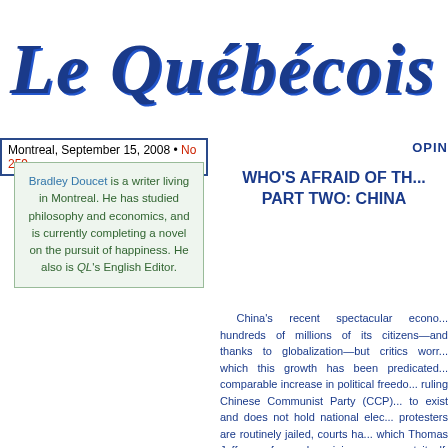[Figure (logo): Le Québécois Libre masthead logo in blue italic handwritten-style font]
Montreal, September 15, 2008 • No 259
OPIN
Bradley Doucet is a writer living in Montreal. He has studied philosophy and economics, and is currently completing a novel on the pursuit of happiness. He also is QL's English Editor.
WHO'S AFRAID OF TH... PART TWO: CHINA
China's recent spectacular econo... hundreds of millions of its citizens—and thanks to globalization—but critics worr... which this growth has been predicated... comparable increase in political freedo... ruling Chinese Communist Party (CCP)... to exist and does not hold national elec... protesters are routinely jailed, courts ha... which Thomas Jefferson famously opini... government itself, labours under the he...